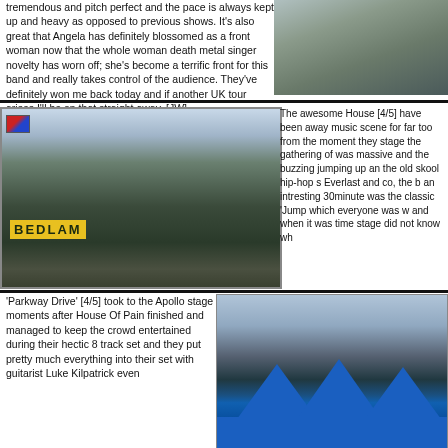tremendous and pitch perfect and the pace is always kept up and heavy as opposed to previous shows. It's also great that Angela has definitely blossomed as a front woman now that the whole woman death metal singer novelty has worn off; she's become a terrific front for this band and really takes control of the audience. They've definitely won me back today and if another UK tour arises I'll be on that straight away. [JW]
[Figure (photo): Festival crowd photo from above, showing people sitting and standing in an outdoor area]
[Figure (photo): Festival crowd at the Bedlam stage, with BEDLAM yellow banner visible and a flag, many people in dark clothing]
The awesome House [4/5] have been away music scene for far too from the moment they stage the gathering of was massive and the buzzing jumping up an the old skool hip-hop s Everlast and co, the b an intresting 30minute was the classic 'Jump which everyone was w and when it was time stage did not know wh
'Parkway Drive' [4/5] took to the Apollo stage moments after House Of Pain finished and managed to keep the crowd entertained during their hectic 8 track set and they put pretty much everything into their set with guitarist Luke Kilpatrick even
[Figure (photo): Festival main stage with large blue tents/marquees and crowd in foreground]